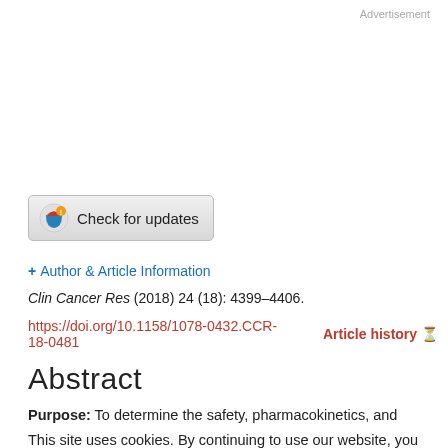Advertisement
[Figure (other): Check for updates button with circular logo icon]
+ Author & Article Information
Clin Cancer Res (2018) 24 (18): 4399–4406.
https://doi.org/10.1158/1078-0432.CCR-18-0481   Article history
Abstract
Purpose: To determine the safety, pharmacokinetics, and recommended phase II dose of an antibody–drug conjugate (ADC) targeting ectonucleotide phosphodiesterase/pyrophosphatase 3 (ENPP3) conjugated to monomethyl auristatin F (MMAF) in subjects with clear cell renal cell carcinoma.
This site uses cookies. By continuing to use our website, you are agreeing to our privacy policy. Accept